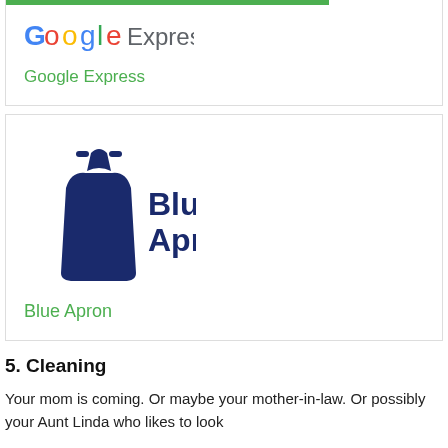[Figure (logo): Google Express logo (partially visible at top of page)]
Google Express
[Figure (logo): Blue Apron logo - dark blue apron shape with text Blue Apron in dark blue]
Blue Apron
5. Cleaning
Your mom is coming. Or maybe your mother-in-law. Or possibly your Aunt Linda who likes to look